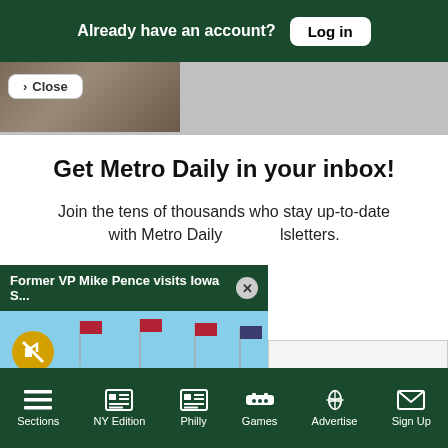Already have an account? Log in
[Figure (screenshot): Partially visible background image of people at outdoor event]
Close
Get Metro Daily in your inbox!
Join the tens of thousands who stay up-to-date with Metro Daily newsletters.
[Figure (screenshot): Video popup: Former VP Mike Pence visits Iowa S... showing a stadium building exterior with American flags, mute button visible]
ter
Sections  NY Edition  Philly  Games  Advertise  Sign Up